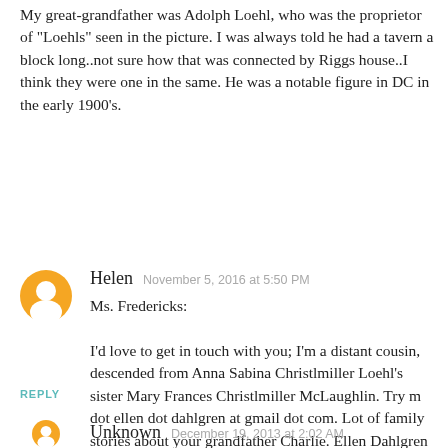My great-grandfather was Adolph Loehl, who was the proprietor of "Loehls" seen in the picture. I was always told he had a tavern a block long..not sure how that was connected by Riggs house..I think they were one in the same. He was a notable figure in DC in the early 1900's.
Helen  November 5, 2016 at 5:50 PM
Ms. Fredericks:

I'd love to get in touch with you; I'm a distant cousin, descended from Anna Sabina Christlmiller Loehl's sister Mary Frances Christlmiller McLaughlin. Try m dot ellen dot dahlgren at gmail dot com. Lot of family stories about your grandfather Charlie. Ellen Dahlgren
REPLY
Unknown  December 19, 2013 at 2:02 AM